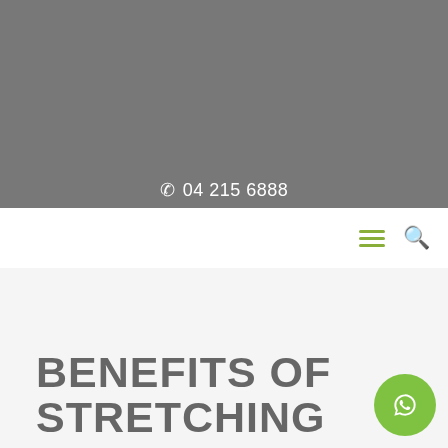[Figure (photo): Gray hero banner image placeholder occupying top portion of page]
📞 04 215 6888
[Figure (screenshot): Navigation bar with hamburger menu icon and search icon on white background]
BENEFITS OF STRETCHING
[Figure (illustration): Green circular WhatsApp chat button in bottom right corner]